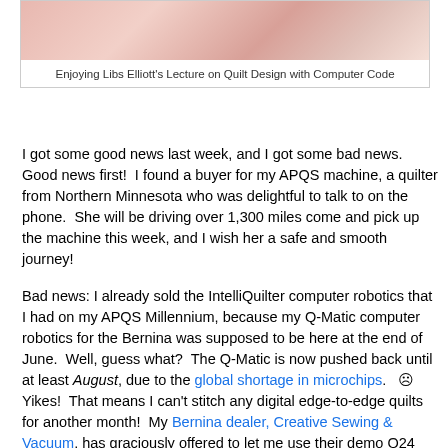[Figure (photo): Close-up photo of pink/cream quilted fabric texture]
Enjoying Libs Elliott's Lecture on Quilt Design with Computer Code
I got some good news last week, and I got some bad news.  Good news first!  I found a buyer for my APQS machine, a quilter from Northern Minnesota who was delightful to talk to on the phone.  She will be driving over 1,300 miles come and pick up the machine this week, and I wish her a safe and smooth journey!
Bad news: I already sold the IntelliQuilter computer robotics that I had on my APQS Millennium, because my Q-Matic computer robotics for the Bernina was supposed to be here at the end of June.  Well, guess what?  The Q-Matic is now pushed back until at least August, due to the global shortage in microchips.   ☹ Yikes!  That means I can't stitch any digital edge-to-edge quilts for another month!  My Bernina dealer, Creative Sewing & Vacuum, has graciously offered to let me use their demo Q24 machine at the store for computerized quilts that  I need to get done in the meantime.  The only catch there is that, to conserve floor space in the shop, their